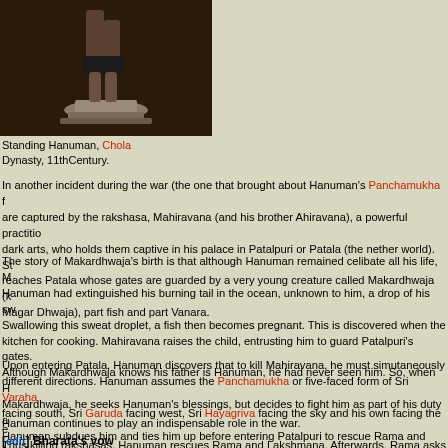[Figure (photo): Statue of Standing Hanuman, lower half visible, dark background, on a pedestal. Chola Dynasty, 11th Century.]
Standing Hanuman, Chola Dynasty, 11thCentury.
In another incident during the war (the one that brought about Hanuman's Panchamukha form), Rama and Lakshmana are captured by the rakshasa, Mahiravana (and his brother Ahiravana), a powerful practitioner of the dark arts, who holds them captive in his palace in Patalpuri or Patala (the nether world). So Hanuman reaches Patala whose gates are guarded by a very young creature called Makardhwaja (known also as Magar Dhwaja), part fish and part Vanara.
The story of Makardhwaja's birth is that although Hanuman remained celibate all his life, Makardhwaja claims Hanuman had extinguished his burning tail in the ocean, unknown to him, a drop of his sweat was swallowed by a fish. Swallowing this sweat droplet, a fish then becomes pregnant. This is discovered when the fish is caught and brought to the kitchen for cooking. Mahiravana raises the child, entrusting him to guard Patalpuri's gates. Although Makardhwaja knows his father is Hanuman, he had never seen him. So, when Hanuman arrives and meets Makardhwaja, he seeks Hanuman's blessings, but decides to fight him as part of his duty as a gatekeeper. But Hanuman subdues him and ties him up before entering Patalpuri to rescue Rama and Lakshmana.
Upon entering Patala, Hanuman discovers that to kill Mahiravana, he must simutaneously extinguish five lamps burning in different directions. Hanuman assumes the Panchamukha or five-faced form of Sri Varaha facing north, Sri Narasimha facing south, Sri Garuda facing west, Sri Hayagriva facing the sky and his own facing the east to accomplish the task. Thus killing rakshasas, Hanuman rescues Rama and Lakshmana. Afterwards, Rama asks Hanuman to crown Makardhwaja king of Patalpuri.
Hanuman continues to play an indispensable role in the war.
[edit] Bharata's vow